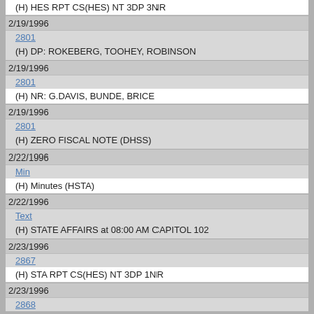(H) HES RPT CS(HES) NT 3DP 3NR
2/19/1996
2801
(H) DP: ROKEBERG, TOOHEY, ROBINSON
2/19/1996
2801
(H) NR: G.DAVIS, BUNDE, BRICE
2/19/1996
2801
(H) ZERO FISCAL NOTE (DHSS)
2/22/1996
Min
(H) Minutes (HSTA)
2/22/1996
Text
(H) STATE AFFAIRS at 08:00 AM CAPITOL 102
2/23/1996
2867
(H) STA RPT CS(HES) NT 3DP 1NR
2/23/1996
2868